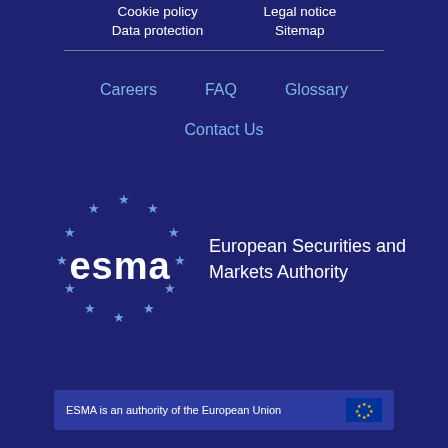Cookie policy
Data protection
Legal notice
Sitemap
Careers
FAQ
Glossary
Contact Us
[Figure (logo): ESMA logo — European Securities and Markets Authority with EU stars circle]
ESMA is an authority of the European Union